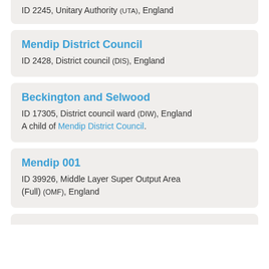ID 2245, Unitary Authority (UTA), England
Mendip District Council
ID 2428, District council (DIS), England
Beckington and Selwood
ID 17305, District council ward (DIW), England
A child of Mendip District Council.
Mendip 001
ID 39926, Middle Layer Super Output Area (Full) (OMF), England